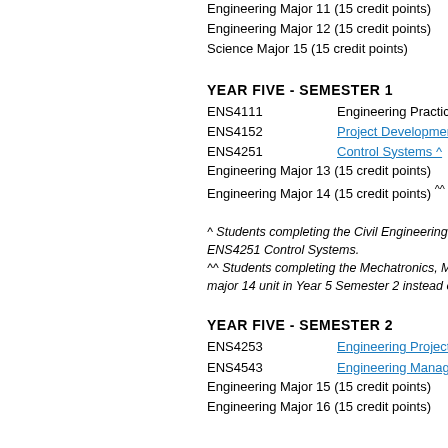Engineering Major 11 (15 credit points)
Engineering Major 12 (15 credit points)
Science Major 15 (15 credit points)
YEAR FIVE - SEMESTER 1
ENS4111   Engineering Practic...
ENS4152   Project Development...
ENS4251   Control Systems ^
Engineering Major 13 (15 credit points)
Engineering Major 14 (15 credit points) ^^
^ Students completing the Civil Engineering... ENS4251 Control Systems.
^^ Students completing the Mechatronics, M... major 14 unit in Year 5 Semester 2 instead o...
YEAR FIVE - SEMESTER 2
ENS4253   Engineering Project...
ENS4543   Engineering Manag...
Engineering Major 15 (15 credit points)
Engineering Major 16 (15 credit points)